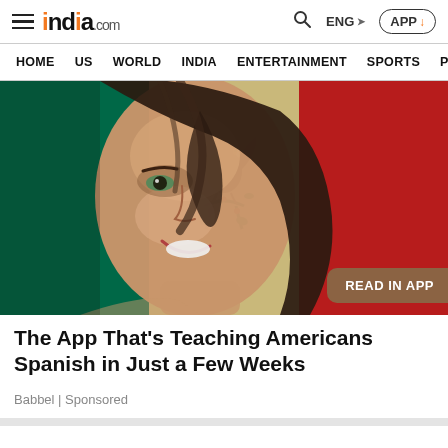india.com — HOME | US | WORLD | INDIA | ENTERTAINMENT | SPORTS | PHO
[Figure (photo): A smiling woman with long brown wavy hair blowing across her face, overlaid on the Mexican flag with green, white (with eagle emblem), and red vertical stripes.]
The App That's Teaching Americans Spanish in Just a Few Weeks
Babbel | Sponsored